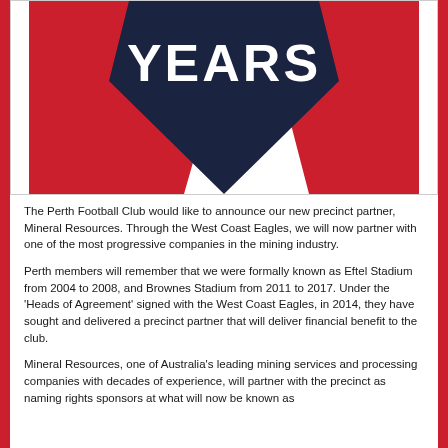[Figure (illustration): Perth Football Club logo/badge showing a dark navy heart/chevron shape with bold white text 'YEARS' and red and black design elements]
The Perth Football Club would like to announce our new precinct partner, Mineral Resources. Through the West Coast Eagles, we will now partner with one of the most progressive companies in the mining industry.
Perth members will remember that we were formally known as Eftel Stadium from 2004 to 2008, and Brownes Stadium from 2011 to 2017. Under the 'Heads of Agreement' signed with the West Coast Eagles, in 2014, they have sought and delivered a precinct partner that will deliver financial benefit to the club.
Mineral Resources, one of Australia's leading mining services and processing companies with decades of experience, will partner with the precinct as naming rights sponsors at what will now be known as